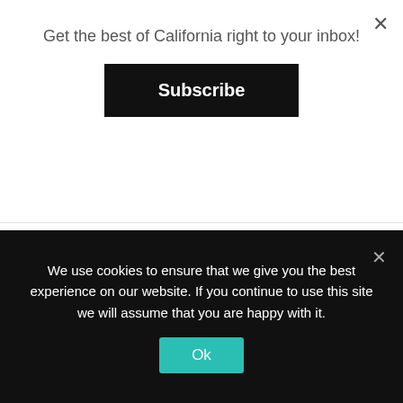Get the best of California right to your inbox!
Subscribe
Upon sitting down, Scherer handed us our first drink of the evening: a bubbly gin cocktail made with Aperol. It was a crisp and mildly sweet way to start our dinner. Additionally, we chose the option to add a wine pairing and receive a different pour to complement each snack, entree and dessert. If you choose this option, take it from us and use a rideshare to truly
We use cookies to ensure that we give you the best experience on our website. If you continue to use this site we will assume that you are happy with it.
Ok